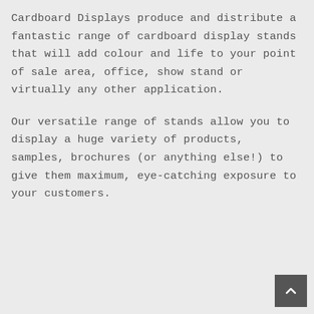Cardboard Displays produce and distribute a fantastic range of cardboard display stands that will add colour and life to your point of sale area, office, show stand or virtually any other application.
Our versatile range of stands allow you to display a huge variety of products, samples, brochures (or anything else!) to give them maximum, eye-catching exposure to your customers.